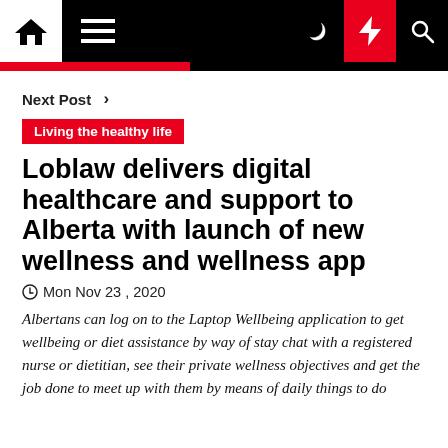Navigation bar with home, menu, moon, flash, and search icons
Next Post >
Living the healthy life
Loblaw delivers digital healthcare and support to Alberta with launch of new wellness and wellness app
Mon Nov 23, 2020
Albertans can log on to the Laptop Wellbeing application to get wellbeing or diet assistance by way of stay chat with a registered nurse or dietitian, see their private wellness objectives and get the job done to meet up with them by means of daily things to do